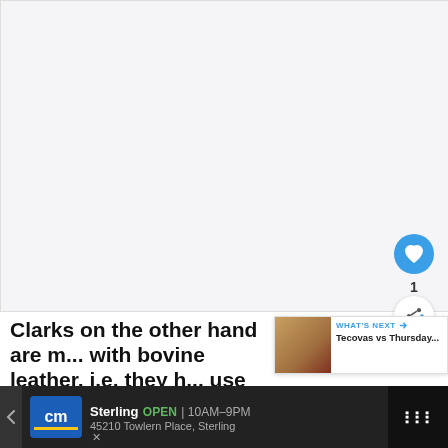[Figure (photo): Large white/light gray image area, likely a product or article image, mostly blank/white]
Clarks on the other hand are m... with bovine leather, i.e. they h... use of raw materials that come in
[Figure (screenshot): WHAT'S NEXT overlay: Tecovas vs Thursday... with thumbnail of boots]
[Figure (infographic): Ad banner: cm (City Mattress) Sterling OPEN 10AM-9PM 45210 Towlern Place, Sterling with navigation icon]
1